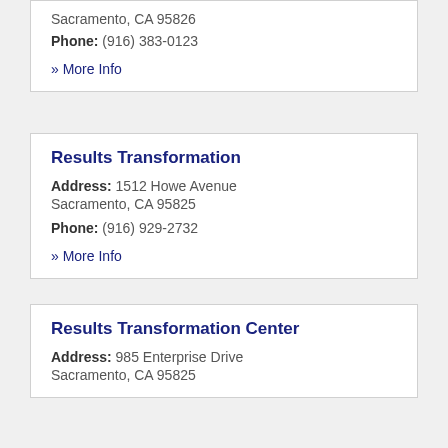Sacramento, CA 95826
Phone: (916) 383-0123
» More Info
Results Transformation
Address: 1512 Howe Avenue Sacramento, CA 95825
Phone: (916) 929-2732
» More Info
Results Transformation Center
Address: 985 Enterprise Drive Sacramento, CA 95825